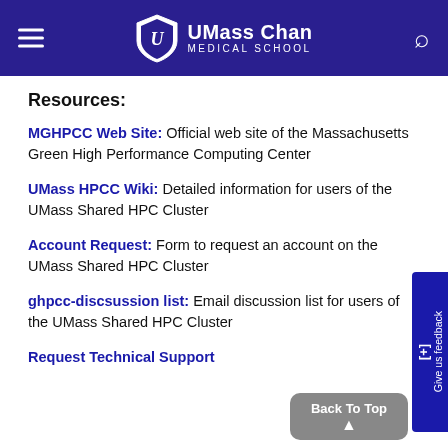UMass Chan Medical School
Resources:
MGHPCC Web Site: Official web site of the Massachusetts Green High Performance Computing Center
UMass HPCC Wiki: Detailed information for users of the UMass Shared HPC Cluster
Account Request: Form to request an account on the UMass Shared HPC Cluster
ghpcc-discsussion list: Email discussion list for users of the UMass Shared HPC Cluster
Request Technical Support